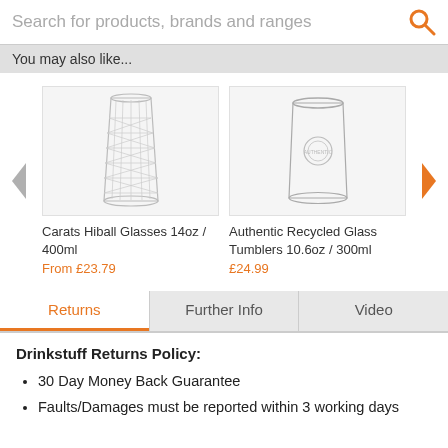Search for products, brands and ranges
You may also like...
[Figure (photo): Product carousel showing two glass products with left and right navigation arrows]
Carats Hiball Glasses 14oz / 400ml
From £23.79
Authentic Recycled Glass Tumblers 10.6oz / 300ml
£24.99
Returns | Further Info | Video
Drinkstuff Returns Policy:
30 Day Money Back Guarantee
Faults/Damages must be reported within 3 working days